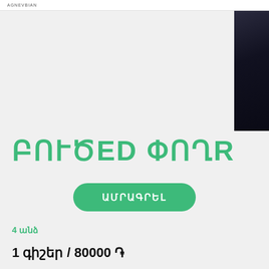AGNEVBIAN
[Figure (photo): Dark interior photo cropped on the right side of the page]
ԲՈՒԾED ՓՈՂR
ԱՄՐԱԳՐԵԼ
4 անձ
1 գիշեր / 80000 ֏